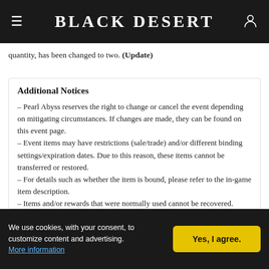Black Desert
quantity, has been changed to two. (Update)
Additional Notices
– Pearl Abyss reserves the right to change or cancel the event depending on mitigating circumstances. If changes are made, they can be found on this event page.
– Event items may have restrictions (sale/trade) and/or different binding settings/expiration dates. Due to this reason, these items cannot be transferred or restored.
– For details such as whether the item is bound, please refer to the in-game item description.
– Items and/or rewards that were normally used cannot be recovered.
– Participating in the event using inappropriate methods may
We use cookies, with your consent, to customize content and advertising. More information